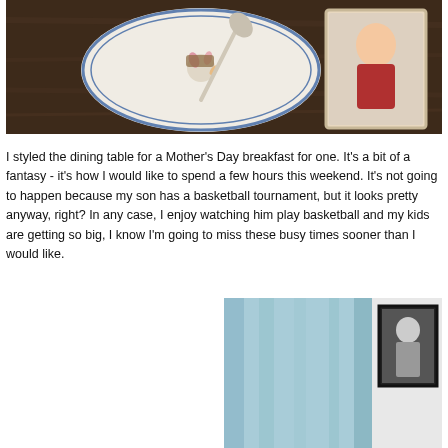[Figure (photo): Aerial view of a dining table with a decorative plate, spoon, and a framed photo of a woman in a red top, on a dark wood surface]
I styled the dining table for a Mother's Day breakfast for one. It's a bit of a fantasy - it's how I would like to spend a few hours this weekend. It's not going to happen because my son has a basketball tournament, but it looks pretty anyway, right? In any case, I enjoy watching him play basketball and my kids are getting so big, I know I'm going to miss these busy times sooner than I would like.
[Figure (photo): Partial interior shot showing light blue curtains and a framed black and white photograph on a white wall]